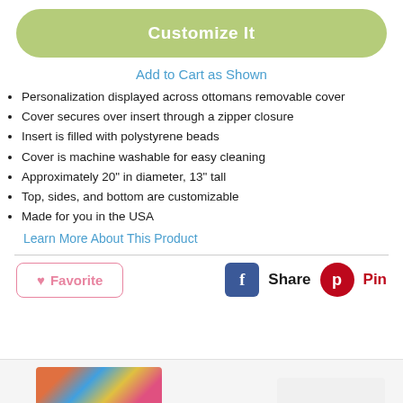Customize It
Add to Cart as Shown
Personalization displayed across ottomans removable cover
Cover secures over insert through a zipper closure
Insert is filled with polystyrene beads
Cover is machine washable for easy cleaning
Approximately 20" in diameter, 13" tall
Top, sides, and bottom are customizable
Made for you in the USA
Learn More About This Product
Favorite  |  Share  |  Pin
[Figure (photo): Bottom strip showing two product thumbnail images]